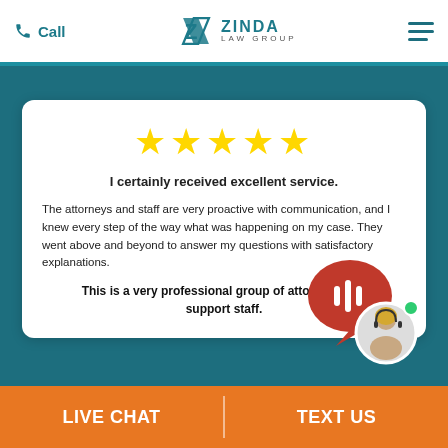Call | ZINDA LAW GROUP
[Figure (illustration): Five gold/yellow star rating icons in a row]
I certainly received excellent service.
The attorneys and staff are very proactive with communication, and I knew every step of the way what was happening on my case. They went above and beyond to answer my questions with satisfactory explanations.
This is a very professional group of attorneys and support staff.
[Figure (illustration): Live chat widget with red speech bubble containing sound wave icon and a photo of a female customer service agent wearing a headset with a green online indicator]
LIVE CHAT | TEXT US